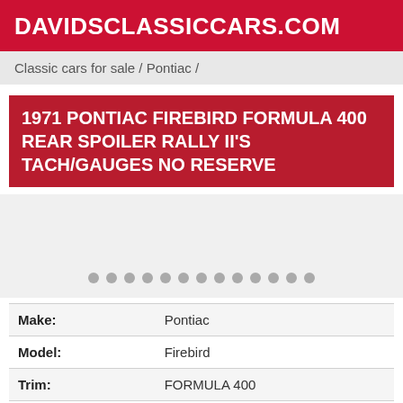DAVIDSCLASSICCARS.COM
Classic cars for sale / Pontiac /
1971 PONTIAC FIREBIRD FORMULA 400 REAR SPOILER RALLY II'S TACH/GAUGES NO RESERVE
[Figure (other): Image carousel area with navigation dots, showing a 1971 Pontiac Firebird Formula 400. Carousel dots visible at the bottom.]
| Field | Value |
| --- | --- |
| Make: | Pontiac |
| Model: | Firebird |
| Trim: | FORMULA 400 |
| Year: | 1971 |
| Mileage: | 11,038 |
| VIN: | 226871L108122 |